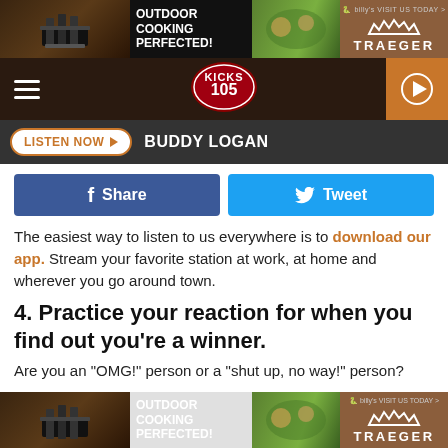[Figure (screenshot): Traeger outdoor cooking advertisement banner at top with dark background]
[Figure (logo): Kicks 105 radio station navigation bar with hamburger menu, logo, and play button]
[Figure (screenshot): Listen Now button and Buddy Logan text in dark nav bar]
[Figure (screenshot): Facebook Share and Twitter Tweet social buttons]
The easiest way to listen to us everywhere is to download our app. Stream your favorite station at work, at home and wherever you go around town.
4. Practice your reaction for when you find out you're a winner.
Are you an "OMG!" person or a "shut up, no way!" person?
[Figure (screenshot): Traeger outdoor cooking advertisement banner at bottom]